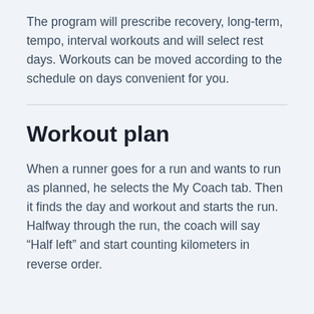The program will prescribe recovery, long-term, tempo, interval workouts and will select rest days. Workouts can be moved according to the schedule on days convenient for you.
Workout plan
When a runner goes for a run and wants to run as planned, he selects the My Coach tab. Then it finds the day and workout and starts the run. Halfway through the run, the coach will say “Half left” and start counting kilometers in reverse order.